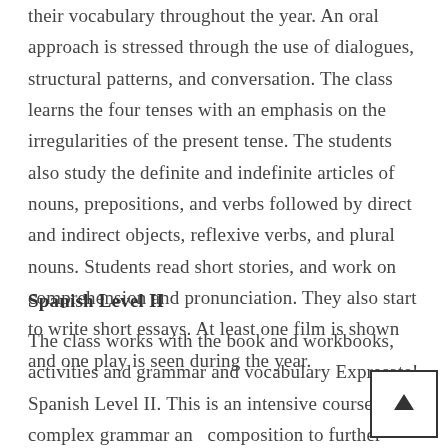their vocabulary throughout the year. An oral approach is stressed through the use of dialogues, structural patterns, and conversation. The class learns the four tenses with an emphasis on the irregularities of the present tense. The students also study the definite and indefinite articles of nouns, prepositions, and verbs followed by direct and indirect objects, reflexive verbs, and plural nouns. Students read short stories, and work on comprehension and pronunciation. They also start to write short essays. At least one film is shown and one play is seen during the year.
Spanish Level II
The class works with the book and workbooks, activities and grammar and vocabulary Expresate! Spanish Level II. This is an intensive course in complex grammar and composition to further develop oral skills. Discussions of